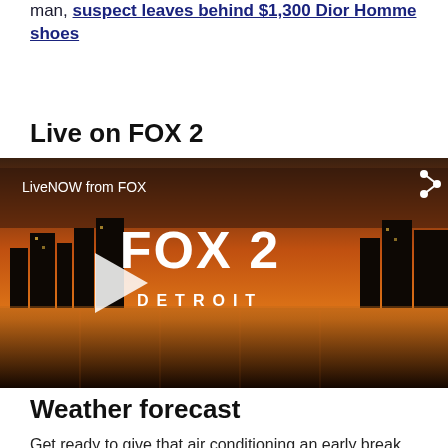man, suspect leaves behind $1,300 Dior Homme shoes
Live on FOX 2
[Figure (screenshot): FOX 2 Detroit live video player with city skyline at dusk/orange sky background, showing LiveNOW from FOX branding, FOX 2 DETROIT logo, play button, and share icon]
Weather forecast
Get ready to give that air conditioning an early break